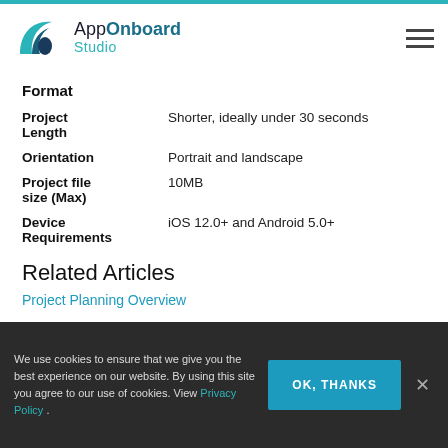AppOnboard Studio
Format
| Project Length | Shorter, ideally under 30 seconds |
| Orientation | Portrait and landscape |
| Project file size (Max) | 10MB |
| Device Requirements | iOS 12.0+ and Android 5.0+ |
Related Articles
Project Planning Overview
We use cookies to ensure that we give you the best experience on our website. By using this site you agree to our use of cookies. View Privacy Policy .